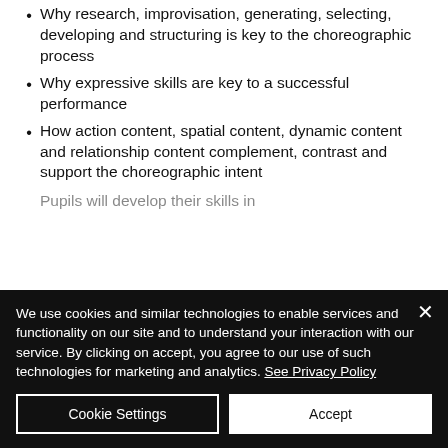Why research, improvisation, generating, selecting, developing and structuring is key to the choreographic process
Why expressive skills are key to a successful performance
How action content, spatial content, dynamic content and relationship content complement, contrast and support the choreographic intent
Pupils will develop their skills in
We use cookies and similar technologies to enable services and functionality on our site and to understand your interaction with our service. By clicking on accept, you agree to our use of such technologies for marketing and analytics. See Privacy Policy
Cookie Settings
Accept